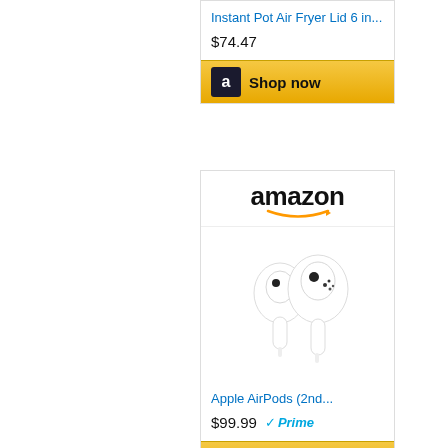Instant Pot Air Fryer Lid 6 in...
$74.47
[Figure (screenshot): Amazon 'Shop now' button with Amazon 'a' logo icon on golden/yellow gradient background]
[Figure (screenshot): Amazon advertisement card featuring Amazon logo with smile, Apple AirPods (2nd generation) product image showing two white wireless earbuds]
Apple AirPods (2nd...
$99.99 Prime
[Figure (screenshot): Amazon 'Shop now' button with Amazon 'a' logo icon on golden/yellow gradient background]